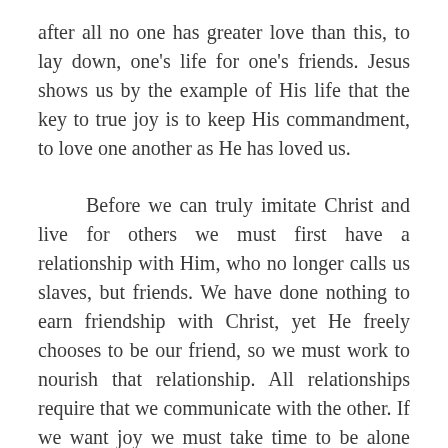after all no one has greater love than this, to lay down, one's life for one's friends. Jesus shows us by the example of His life that the key to true joy is to keep His commandment, to love one another as He has loved us.
Before we can truly imitate Christ and live for others we must first have a relationship with Him, who no longer calls us slaves, but friends. We have done nothing to earn friendship with Christ, yet He freely chooses to be our friend, so we must work to nourish that relationship. All relationships require that we communicate with the other. If we want joy we must take time to be alone with Jesus in prayer. If you don't know where to start perhaps start small, make a concrete resolution tonight to